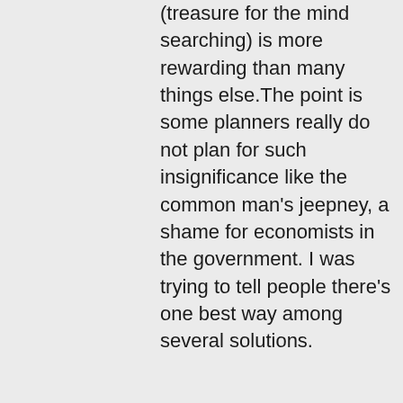(treasure for the mind searching) is more rewarding than many things else.The point is some planners really do not plan for such insignificance like the common man's jeepney, a shame for economists in the government. I was trying to tell people there's one best way among several solutions.